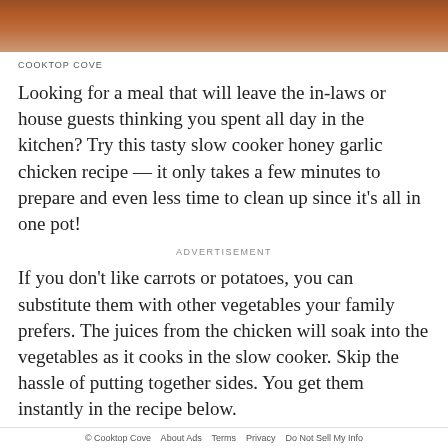[Figure (photo): Top strip showing a partial photo of chicken dish with orange/brown tones]
COOKTOP COVE
Looking for a meal that will leave the in-laws or house guests thinking you spent all day in the kitchen? Try this tasty slow cooker honey garlic chicken recipe — it only takes a few minutes to prepare and even less time to clean up since it's all in one pot!
ADVERTISEMENT
If you don't like carrots or potatoes, you can substitute them with other vegetables your family prefers. The juices from the chicken will soak into the vegetables as it cooks in the slow cooker. Skip the hassle of putting together sides. You get them instantly in the recipe below.
One-pot honey garlic chicken
© Cooktop Cove   About Ads   Terms   Privacy   Do Not Sell My Info